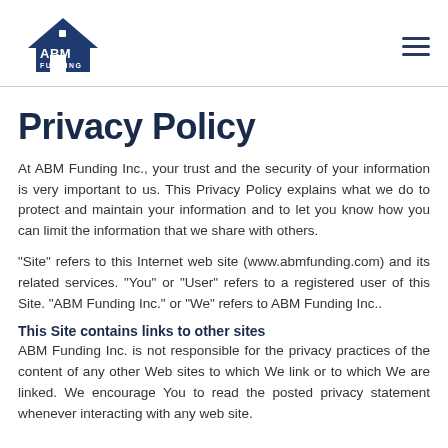[Figure (logo): ABM Funding logo: dark blue house icon with 'ABM FUNDING' text]
Privacy Policy
At ABM Funding Inc., your trust and the security of your information is very important to us. This Privacy Policy explains what we do to protect and maintain your information and to let you know how you can limit the information that we share with others.
"Site" refers to this Internet web site (www.abmfunding.com) and its related services. "You" or "User" refers to a registered user of this Site. "ABM Funding Inc." or "We" refers to ABM Funding Inc..
This Site contains links to other sites
ABM Funding Inc. is not responsible for the privacy practices of the content of any other Web sites to which We link or to which We are linked. We encourage You to read the posted privacy statement whenever interacting with any web site.